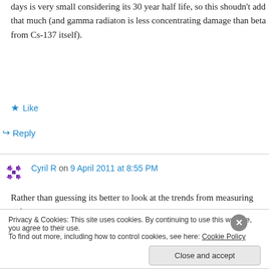days is very small considering its 30 year half life, so this shoudn't add that much (and gamma radiaton is less concentrating damage than beta from Cs-137 itself).
★ Like
↪ Reply
Cyril R on 9 April 2011 at 8:55 PM
Rather than guessing its better to look at the trends from measuring points:
Privacy & Cookies: This site uses cookies. By continuing to use this website, you agree to their use.
To find out more, including how to control cookies, see here: Cookie Policy
Close and accept